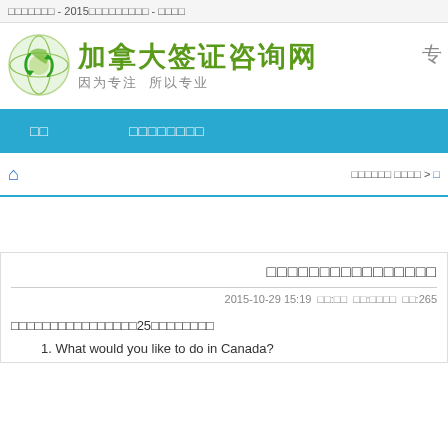□□□□□□□ - 2015□□□□□□□□□ - □□□□
[Figure (logo): Globe with green arrows logo for Canada visa consulting website]
加拿大签证咨询网
因为专注  所以专业
专
□□  □□□□□□□□
□□□□□□ □□□□ > □
□□□□□□□□□□□□□□□□
2015-10-29 15:19  □□:□□  □□:□□□□  □□:265
□□□□□□□□□□□□□□□□25□□□□□□□□
1. What would you like to do in Canada?